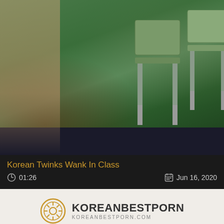[Figure (screenshot): Video thumbnail showing a room with green walls and chairs, with a person visible]
Korean Twinks Wank In Class
01:26   Jun 16, 2020
[Figure (logo): KoreanBestPorn logo with camera aperture icon]
KoreanBestPorn © 2022. All Rights Reserved.
Home | Pornstars | Hottest Korean Videos | Best Free Porn Collection | DMCA